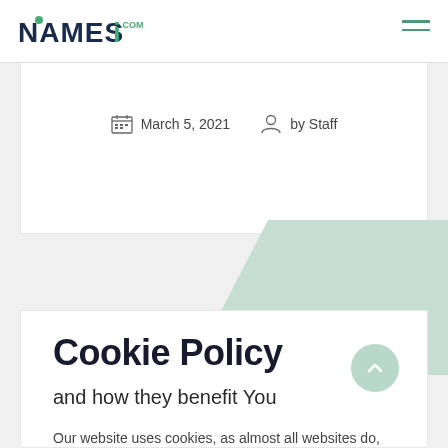NAMESi.com
March 5, 2021  by Staff
Cookie Policy
and how they benefit You
Our website uses cookies, as almost all websites do, to help provide you with the best experience we can. Cookies are small text files that are placed on your computer or mobile phone